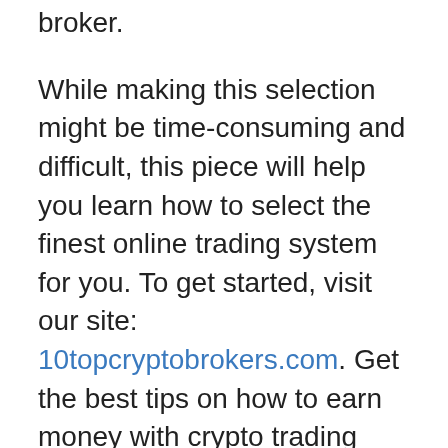broker.
While making this selection might be time-consuming and difficult, this piece will help you learn how to select the finest online trading system for you. To get started, visit our site: 10topcryptobrokers.com. Get the best tips on how to earn money with crypto trading platforms. We are the number one choice among investors looking to invest in crypto currency. Tudofx is an easy-to-use, free, and open source trading platform that allows individuals to trade cryptocurrency with more than $5 billion in assets under management. It allows you to make money